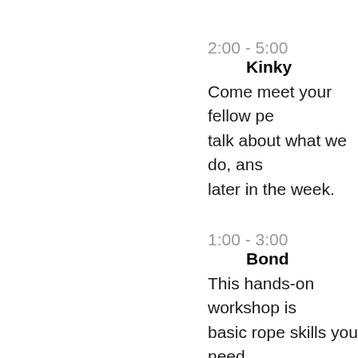2:00 - 5:00    Kinky...
Come meet your fellow pe... talk about what we do, ans... later in the week.
1:00 - 3:00    Bond...
This hands-on workshop is... basic rope skills you need... addition, we'll discuss the... techniques that you can a...